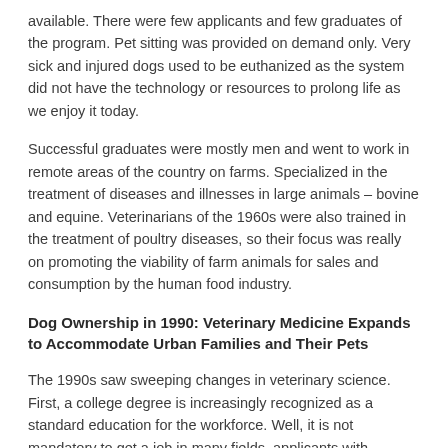available. There were few applicants and few graduates of the program. Pet sitting was provided on demand only. Very sick and injured dogs used to be euthanized as the system did not have the technology or resources to prolong life as we enjoy it today.
Successful graduates were mostly men and went to work in remote areas of the country on farms. Specialized in the treatment of diseases and illnesses in large animals – bovine and equine. Veterinarians of the 1960s were also trained in the treatment of poultry diseases, so their focus was really on promoting the viability of farm animals for sales and consumption by the human food industry.
Dog Ownership in 1990: Veterinary Medicine Expands to Accommodate Urban Families and Their Pets
The 1990s saw sweeping changes in veterinary science. First, a college degree is increasingly recognized as a standard education for the workforce. Well, it is not mandatory to get a job in many fields, applicants with